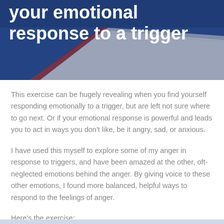[Figure (photo): Photo of a notebook/journal at an angle with a blue background, overlaid with white bold title text partially cut off at top reading 'your emotional response to a trigger']
your emotional response to a trigger
This exercise can be hugely revealing when you find yourself responding emotionally to a trigger, but are left not sure where to go next. Or if your emotional response is powerful and leads you to act in ways you don't like, be it angry, sad, or anxious.
I have used this myself to explore some of my anger in response to triggers, and have been amazed at the other, oft-neglected emotions behind the anger. By giving voice to these other emotions, I found more balanced, helpful ways to respond to the feelings of anger.
Here's the exercise: